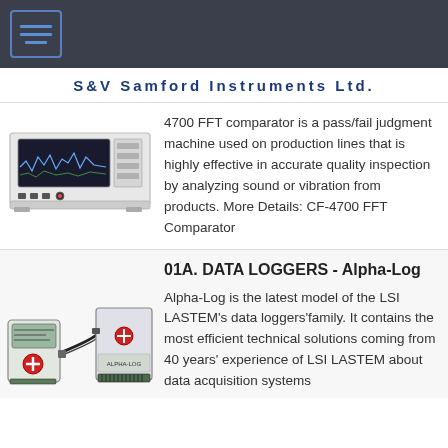S&V Samford Instruments Ltd.
[Figure (photo): CF-4700 FFT Comparator instrument device, a rack-mounted measurement unit with display screen showing waveform/spectrum]
4700 FFT comparator is a pass/fail judgment machine used on production lines that is highly effective in accurate quality inspection by analyzing sound or vibration from products. More Details: CF-4700 FFT Comparator
01A. DATA LOGGERS - Alpha-Log
[Figure (photo): Alpha-Log data logger devices - two compact electronic data logging units connected by cable]
Alpha-Log is the latest model of the LSI LASTEM's data loggers'family. It contains the most efficient technical solutions coming from 40 years' experience of LSI LASTEM about data acquisition systems